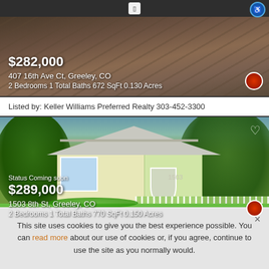[Figure (photo): Top portion of a real estate listing showing a house roof/exterior with price overlay: $282,000, 407 16th Ave Ct, Greeley, CO, 2 Bedrooms 1 Total Baths 672 SqFt 0.130 Acres]
Listed by: Keller Williams Preferred Realty 303-452-3300
[Figure (photo): Real estate listing photo of a yellow/green cottage-style house with porch, trees, and green lawn. Status: Coming soon. Price: $289,000. Address: 1503 8th St, Greeley, CO. 2 Bedrooms 1 Total Baths 770 SqFt 0.150 Acres]
This site uses cookies to give you the best experience possible. You can read more about our use of cookies or, if you agree, continue to use the site as you normally would.